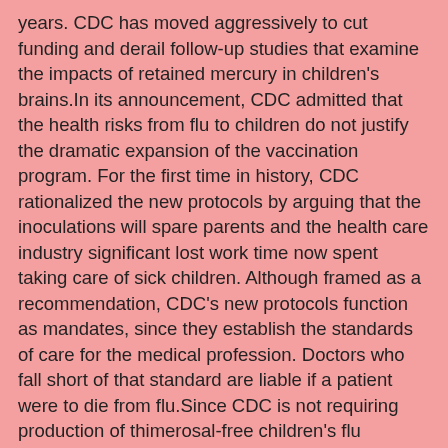years. CDC has moved aggressively to cut funding and derail follow-up studies that examine the impacts of retained mercury in children's brains.In its announcement, CDC admitted that the health risks from flu to children do not justify the dramatic expansion of the vaccination program. For the first time in history, CDC rationalized the new protocols by arguing that the inoculations will spare parents and the health care industry significant lost work time now spent taking care of sick children. Although framed as a recommendation, CDC's new protocols function as mandates, since they establish the standards of care for the medical profession. Doctors who fall short of that standard are liable if a patient were to die from flu.Since CDC is not requiring production of thimerosal-free children's flu vaccines, its expanded recommendations are bound to provoke a scramble among parents, pediatricians and HMOs to get their hands on the limited stashes of thimerosal-free flu vaccines.CDC's new protocols contemplate inoculating 185 million Americans with influenza vaccines. The industry shipped only 81 million doses this year, so even before CDC announced its new requirements, the battle to secure flu vaccines was ferocious. When vaccine manufacturer Sanofi